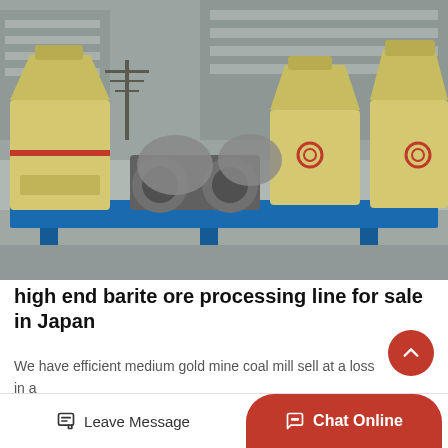[Figure (photo): Outdoor industrial yard showing multiple large yellow/beige mining processing machines (cone crushers, roller crushers) mounted on blue metal frames/skids, with industrial buildings in the background.]
high end barite ore processing line for sale in Japan
We have efficient medium gold mine coal mill sell at a loss in a ,efficient portable coal classifier sell at a loss in Aqabah.